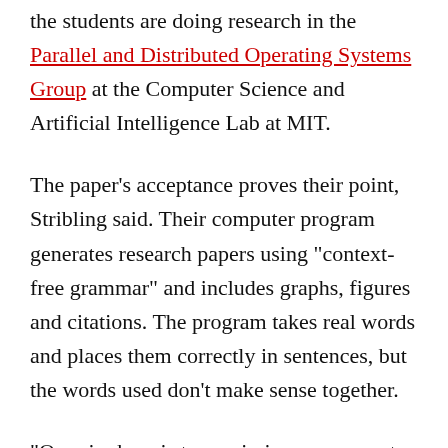the students are doing research in the Parallel and Distributed Operating Systems Group at the Computer Science and Artificial Intelligence Lab at MIT.
The paper's acceptance proves their point, Stribling said. Their computer program generates research papers using "context-free grammar" and includes graphs, figures and citations. The program takes real words and places them correctly in sentences, but the words used don't make sense together.
"Our aim here is to maximize amusement, rather than coherence," say the three on their web site.
They were so amused when the paper was accepted that they told their story on the web, asking people